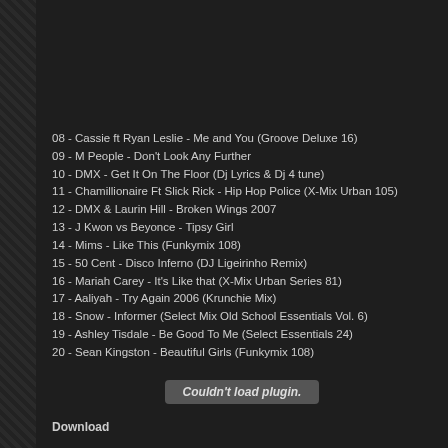08 - Cassie ft Ryan Leslie - Me and You (Groove Deluxe 16)
09 - M People - Don't Look Any Further
10 - DMX - Get It On The Floor (Dj Lyrics & Dj 4 tune)
11 - Chamillionaire Ft Slick Rick - Hip Hop Police (X-Mix Urban 105)
12 - DMX & Laurin Hill - Broken Wings 2007
13 - J Kwon vs Beyonce - Tipsy Girl
14 - Mims - Like This (Funkymix 108)
15 - 50 Cent - Disco Inferno (DJ Ligeirinho Remix)
16 - Mariah Carey - It's Like that (X-Mix Urban Series 81)
17 - Aaliyah - Try Again 2006 (Krunchie Mix)
18 - Snow - Informer (Select Mix Old School Essentials Vol. 6)
19 - Ashley Tisdale - Be Good To Me (Select Essentials 24)
20 - Sean Kingston - Beautiful Girls (Funkymix 108)
Couldn't load plugin.
Download